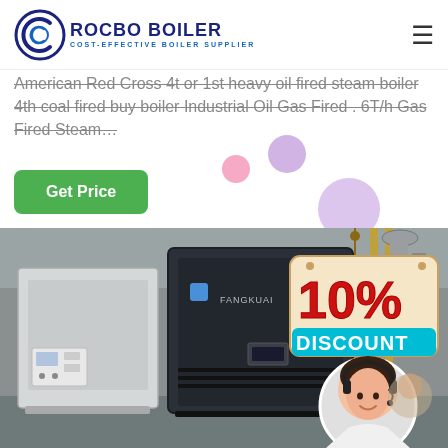[Figure (logo): Rocbo Boiler logo with circular C icon and text 'ROCBO BOILER COST-EFFECTIVE BOILER SUPPLIER']
American Red Cross 4t or 1st heavy oil fired steam boiler 4th coal fired buy boiler Industrial Oil Gas Fired . 6T/h Gas Fired Steam…
Get Price
[Figure (photo): Industrial boiler equipment (Fangkuai branded) in a factory setting with a 10% DISCOUNT badge overlay and a customer service representative in a circular portrait]